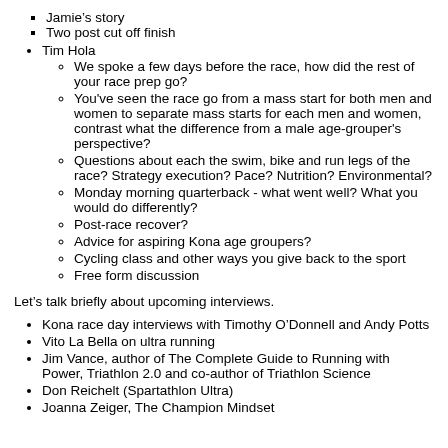Jamie's story
Two post cut off finish
Tim Hola
We spoke a few days before the race, how did the rest of your race prep go?
You've seen the race go from a mass start for both men and women to separate mass starts for each men and women, contrast what the difference from a male age-grouper's perspective?
Questions about each the swim, bike and run legs of the race? Strategy execution? Pace? Nutrition? Environmental?
Monday morning quarterback - what went well?  What you would do differently?
Post-race recover?
Advice for aspiring Kona age groupers?
Cycling class and other ways you give back to the sport
Free form discussion
Let's talk briefly about upcoming interviews.
Kona race day interviews with Timothy O'Donnell and Andy Potts
Vito La Bella on ultra running
Jim Vance, author of The Complete Guide to Running with Power, Triathlon 2.0 and co-author of Triathlon Science
Don Reichelt (Spartathlon Ultra)
Joanna Zeiger, The Champion Mindset